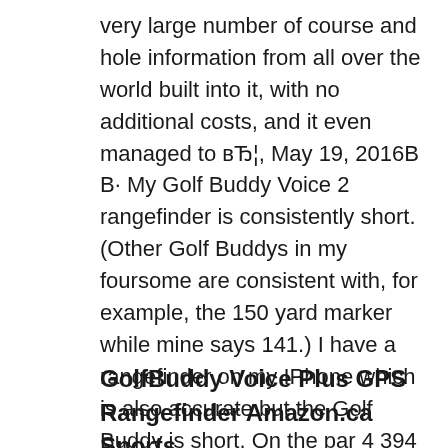very large number of course and hole information from all over the world built into it, with no additional costs, and it even managed to вЂ¦, May 19, 2016В В· My Golf Buddy Voice 2 rangefinder is consistently short. (Other Golf Buddys in my foursome are consistent with, for example, the 150 yard marker while mine says 141.) I have a rangefinder on my IPhone which is also accurate but the Golf Buddy is short. On the par 4 394 yard Hole 1, it reads 347. I have tried rebooting but that doesnвЂ™t seem to.
GolfBuddy Voice Plus GPS Rangefinder Amazon.ca Sports